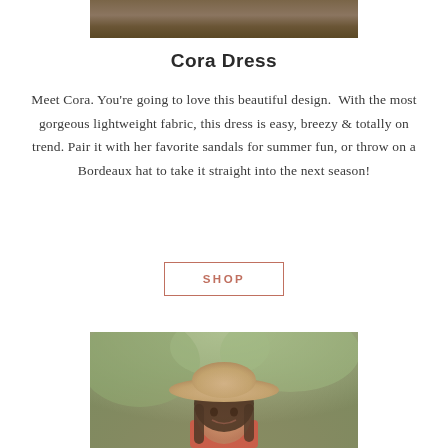[Figure (photo): Top portion of an outdoor photo, showing natural ground/earth tones with foliage, cropped at top of page]
Cora Dress
Meet Cora. You're going to love this beautiful design. With the most gorgeous lightweight fabric, this dress is easy, breezy & totally on trend. Pair it with her favorite sandals for summer fun, or throw on a Bordeaux hat to take it straight into the next season!
[Figure (other): SHOP button with rectangular border in dusty rose/terracotta color]
[Figure (photo): Photo of a young girl smiling, wearing a wide-brimmed tan hat and a red/orange dress, with green trees blurred in the background]